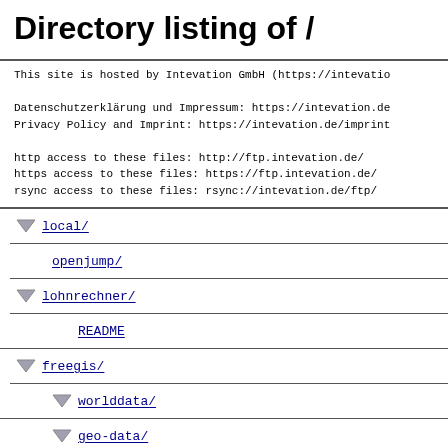Directory listing of /
This site is hosted by Intevation GmbH (https://intevatio

Datenschutzerklärung und Impressum: https://intevation.de
Privacy Policy and Imprint: https://intevation.de/imprint

http access to these files: http://ftp.intevation.de/
https access to these files: https://ftp.intevation.de/
rsync access to these files: rsync://intevation.de/ftp/
local/
openjump/
lohnrechner/
README
freegis/
worlddata/
geo-data/
freegis-tutorial/